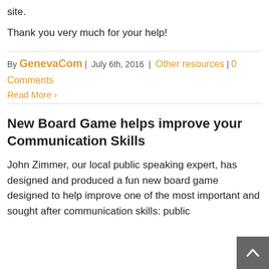site.
Thank you very much for your help!
By GenevaCom | July 6th, 2016 | Other resources | 0 Comments
Read More ›
New Board Game helps improve your Communication Skills
John Zimmer, our local public speaking expert, has designed and produced a fun new board game designed to help improve one of the most important and sought after communication skills: public